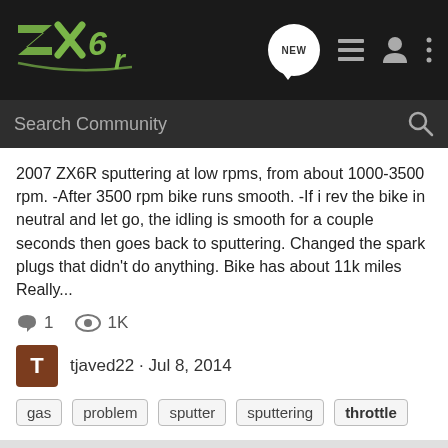ZX6R community forum header with logo, NEW button, list icon, user icon, and more icon
Search Community
2007 ZX6R sputtering at low rpms, from about 1000-3500 rpm. -After 3500 rpm bike runs smooth. -If i rev the bike in neutral and let go, the idling is smooth for a couple seconds then goes back to sputtering. Changed the spark plugs that didn't do anything. Bike has about 11k miles Really...
1  1K
tjaved22 · Jul 8, 2014
gas  problem  sputter  sputtering  throttle
00 Zx6r idles fine, dies with throttle.
Mechanical and Technical
I have a 2000 Zx6r that I just brought out of winter storage. I forgot to drain my tank (which was at about half full), and a